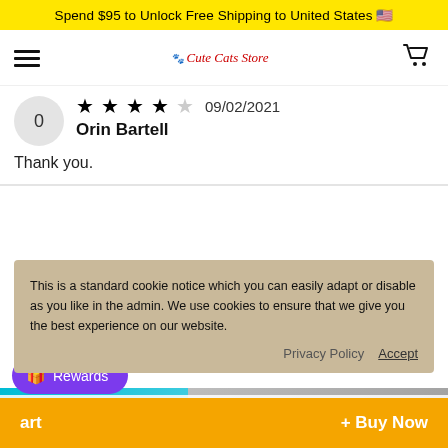Spend $95 to Unlock Free Shipping to United States 🇺🇸
[Figure (screenshot): Navigation bar with hamburger menu, Cute Cats Store logo, and shopping cart icon]
0
★★★★☆ 09/02/2021
Orin Bartell
Thank you.
This is a standard cookie notice which you can easily adapt or disable as you like in the admin. We use cookies to ensure that we give you the best experience on our website.
Privacy Policy    Accept
8 visitors have this item in their cart right now
Rewards
art    + Buy Now